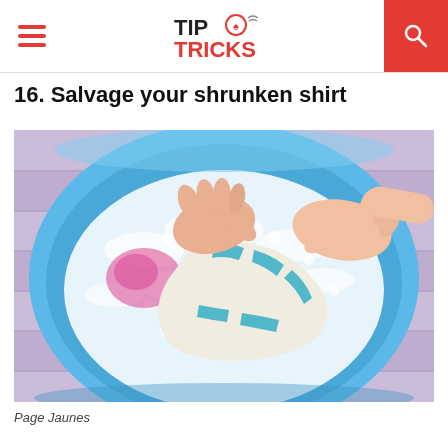TIP TRICKS
16. Salvage your shrunken shirt
[Figure (photo): Overhead view of two hands washing a striped blue and white shirt in a blue plastic basin filled with soapy white water. Soap suds and a pink stain are visible in the water. The basin sits on a purple/lavender wooden surface.]
Page Jaunes